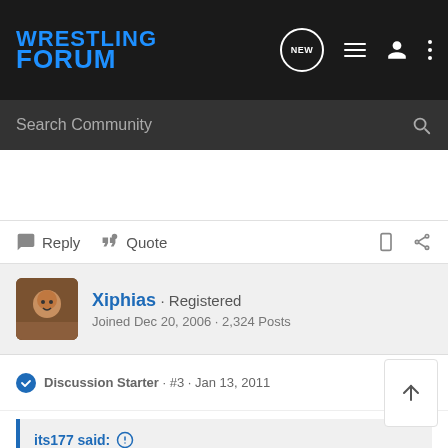WRESTLING FORUM
Search Community
Reply  Quote
Xiphias · Registered
Joined Dec 20, 2006 · 2,324 Posts
Discussion Starter · #3 · Jan 13, 2011
its177 said:
How about fire Russo.